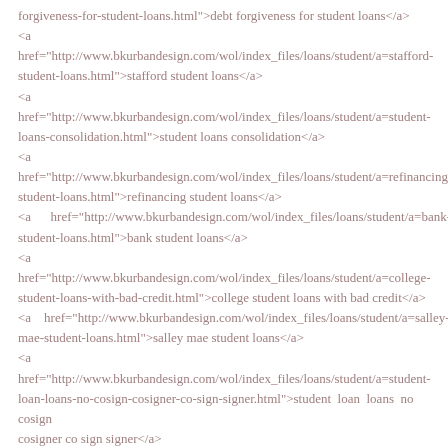<a href="http://www.bkurbandesign.com/wol/index_files/loans/student/a=debt-forgiveness-for-student-loans.html">debt forgiveness for student loans</a>
<a href="http://www.bkurbandesign.com/wol/index_files/loans/student/a=stafford-student-loans.html">stafford student loans</a>
<a href="http://www.bkurbandesign.com/wol/index_files/loans/student/a=student-loans-consolidation.html">student loans consolidation</a>
<a href="http://www.bkurbandesign.com/wol/index_files/loans/student/a=refinancing-student-loans.html">refinancing student loans</a>
<a href="http://www.bkurbandesign.com/wol/index_files/loans/student/a=bank-student-loans.html">bank student loans</a>
<a href="http://www.bkurbandesign.com/wol/index_files/loans/student/a=college-student-loans-with-bad-credit.html">college student loans with bad credit</a>
<a href="http://www.bkurbandesign.com/wol/index_files/loans/student/a=salley-mae-student-loans.html">salley mae student loans</a>
<a href="http://www.bkurbandesign.com/wol/index_files/loans/student/a=student-loan-loans-no-cosign-cosigner-co-sign-signer.html">student loan loans no cosign cosigner co sign signer</a>
<a href="http://www.bkurbandesign.com/wol/index_files/loans/student/a=student-loans-without-a-cosigner.html">student loans without a cosigner</a>
<a href="http://www.bkurbandesign.com/wol/index_files/loans/student/a=obama-student-loans.html">obama student loans</a>